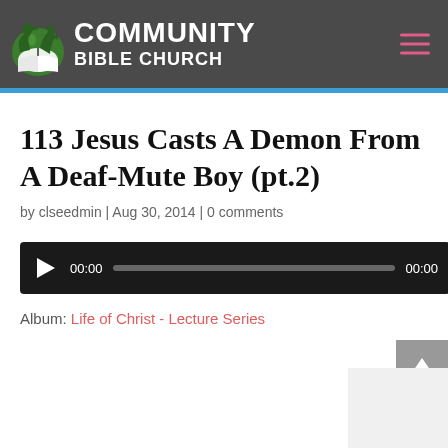[Figure (logo): Community Bible Church logo with green book icon and white text reading COMMUNITY BIBLE CHURCH on dark gray header bar]
113 Jesus Casts A Demon From A Deaf-Mute Boy (pt.2)
by clseedmin | Aug 30, 2014 | 0 comments
[Figure (screenshot): Audio player with play button, 00:00 time display, gray progress bar, and 00:00 end time on dark background]
Album: Life of Christ - Lecture Series